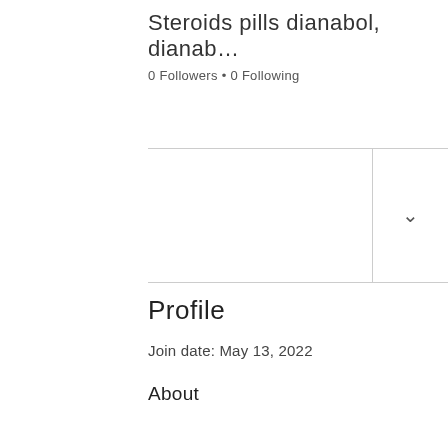Steroids pills dianabol, dianab…
0 Followers • 0 Following
Profile
Join date: May 13, 2022
About
Steroids pills dianabol, dianabol pills results
Steroids pills dianabol, dianabol pills results - Legal steroids for sale